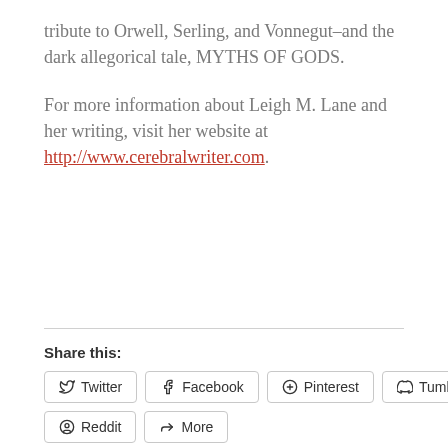tribute to Orwell, Serling, and Vonnegut–and the dark allegorical tale, MYTHS OF GODS.
For more information about Leigh M. Lane and her writing, visit her website at http://www.cerebralwriter.com.
Share this:
Twitter  Facebook  Pinterest  Tumblr  Reddit  More